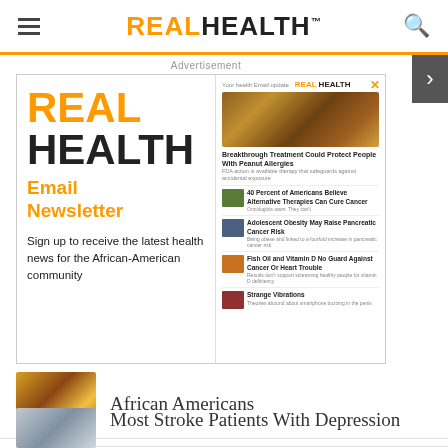REAL HEALTH
Advertisement
[Figure (screenshot): Real Health Email Newsletter advertisement with logo, signup text, and article thumbnails]
African Americans
Most Stroke Patients With Depression